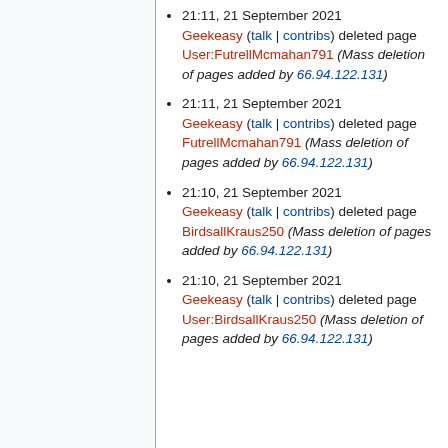21:11, 21 September 2021 Geekeasy (talk | contribs) deleted page User:FutrellMcmahan791 (Mass deletion of pages added by 66.94.122.131)
21:11, 21 September 2021 Geekeasy (talk | contribs) deleted page FutrellMcmahan791 (Mass deletion of pages added by 66.94.122.131)
21:10, 21 September 2021 Geekeasy (talk | contribs) deleted page BirdsallKraus250 (Mass deletion of pages added by 66.94.122.131)
21:10, 21 September 2021 Geekeasy (talk | contribs) deleted page User:BirdsallKraus250 (Mass deletion of pages added by 66.94.122.131)